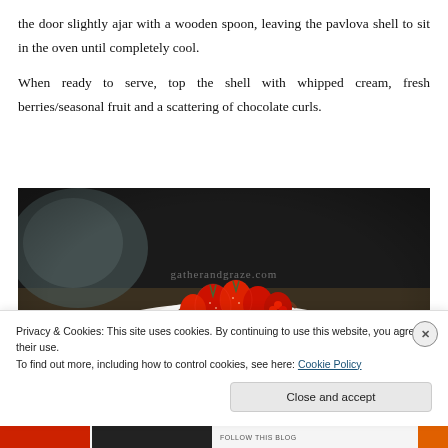the door slightly ajar with a wooden spoon, leaving the pavlova shell to sit in the oven until completely cool.

When ready to serve, top the shell with whipped cream, fresh berries/seasonal fruit and a scattering of chocolate curls.
[Figure (photo): Close-up photo of a pavlova topped with whipped cream, fresh strawberries and raspberries, and chocolate curls, with a watermark reading 'gatherandgraze.com']
Privacy & Cookies: This site uses cookies. By continuing to use this website, you agree to their use.
To find out more, including how to control cookies, see here: Cookie Policy